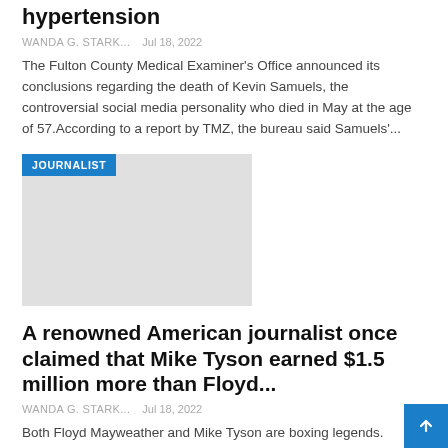hypertension
WANDA G. STARK...   Jul 18, 2022
The Fulton County Medical Examiner's Office announced its conclusions regarding the death of Kevin Samuels, the controversial social media personality who died in May at the age of 57.According to a report by TMZ, the bureau said Samuels'...
[Figure (photo): Gray placeholder image with JOURNALIST badge in blue]
A renowned American journalist once claimed that Mike Tyson earned $1.5 million more than Floyd...
WANDA G. STARK...   Jul 18, 2022
Both Floyd Mayweather and Mike Tyson are boxing legends. However, that's not the only thing they have in common. The pair also had brief stints with WWE with Tyson working with the company in 1998 and